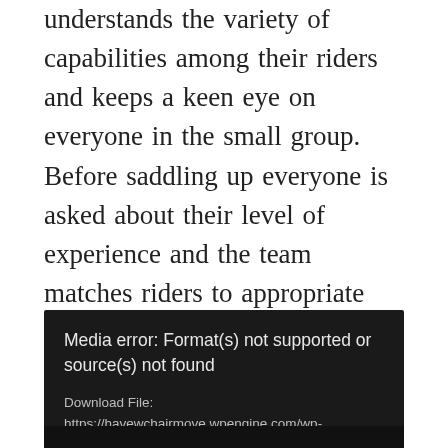understands the variety of capabilities among their riders and keeps a keen eye on everyone in the small group. Before saddling up everyone is asked about their level of experience and the team matches riders to appropriate horses. They offer those who are inexperienced the opportunity to be led down on to the beach until they feel confident.
[Figure (other): Media error box with dark background showing 'Media error: Format(s) not supported or source(s) not found' and a download file link to havewchairmove.wpengine.com]